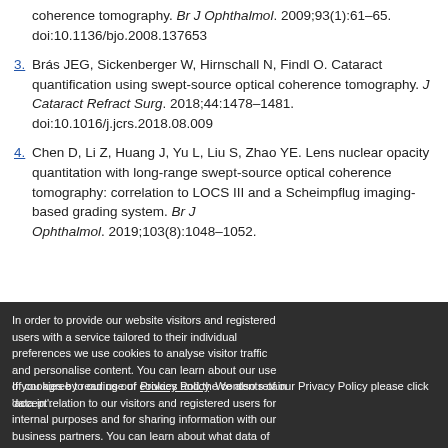coherence tomography. Br J Ophthalmol. 2009;93(1):61–65. doi:10.1136/bjo.2008.137653
3. Brás JEG, Sickenberger W, Hirnschall N, Findl O. Cataract quantification using swept-source optical coherence tomography. J Cataract Refract Surg. 2018;44:1478–1481. doi:10.1016/j.jcrs.2018.08.009
4. Chen D, Li Z, Huang J, Yu L, Liu S, Zhao YE. Lens nuclear opacity quantitation with long-range swept-source optical coherence tomography: correlation to LOCS III and a Scheimpflug imaging-based grading system. Br J Ophthalmol. 2019;103(8):1048–1052.
In order to provide our website visitors and registered users with a service tailored to their individual preferences we use cookies to analyse visitor traffic and personalise content. You can learn about our use of cookies by reading our Privacy Policy. We also retain data in relation to our visitors and registered users for internal purposes and for sharing information with our business partners. You can learn about what data of yours we retain, how it is processed, who it is shared with and your right to have your data deleted by reading our Privacy Policy.
If you agree to our use of cookies and the contents of our Privacy Policy please click 'accept'.